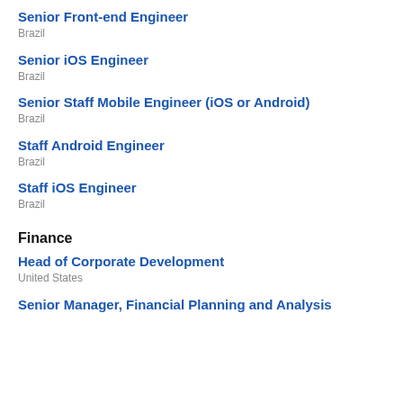Senior Front-end Engineer
Brazil
Senior iOS Engineer
Brazil
Senior Staff Mobile Engineer (iOS or Android)
Brazil
Staff Android Engineer
Brazil
Staff iOS Engineer
Brazil
Finance
Head of Corporate Development
United States
Senior Manager, Financial Planning and Analysis